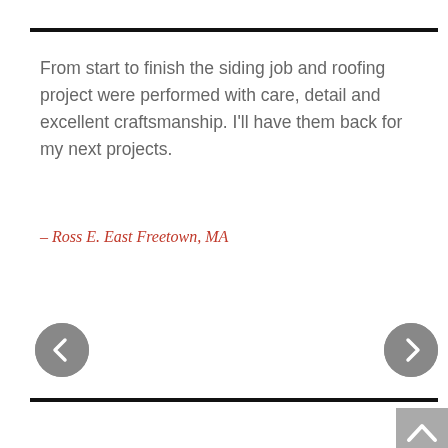From start to finish the siding job and roofing project were performed with care, detail and excellent craftsmanship. I’ll have them back for my next projects.
– Ross E. East Freetown, MA
RECENT POSTS
ROOFING FROM GAF: MAKE YOUR HOME STORM-READY
CABLE RAILS, TIMBERTECH AZEK DECKING, DRINK RAIL, CEDAR SHINGLES, MATTAPOISETT, MA